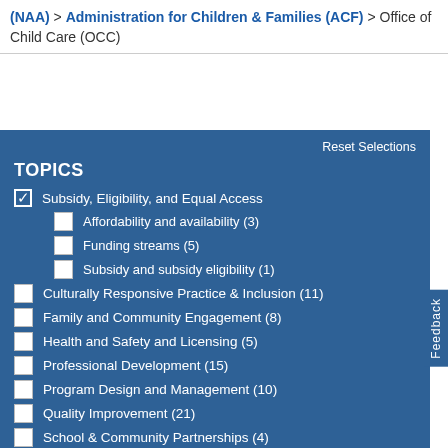(NAA) > Administration for Children & Families (ACF) > Office of Child Care (OCC)
TOPICS
Reset Selections
✓ Subsidy, Eligibility, and Equal Access
☐ Affordability and availability (3)
☐ Funding streams (5)
☐ Subsidy and subsidy eligibility (1)
☐ Culturally Responsive Practice & Inclusion (11)
☐ Family and Community Engagement (8)
☐ Health and Safety and Licensing (5)
☐ Professional Development (15)
☐ Program Design and Management (10)
☐ Quality Improvement (21)
☐ School & Community Partnerships (4)
☐ Summer Learning (9)